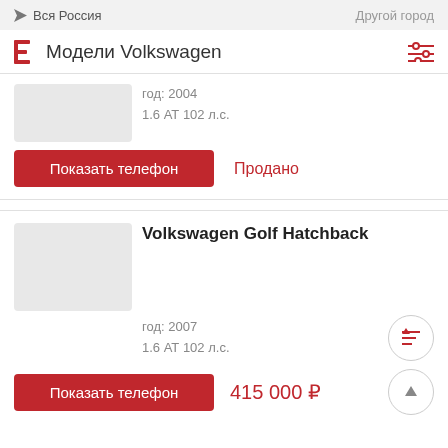Вся Россия   Другой город
Модели Volkswagen
год: 2004
1.6 АТ 102 л.с.
Показать телефон
Продано
Volkswagen Golf Hatchback
год: 2007
1.6 АТ 102 л.с.
Показать телефон
415 000 ₽